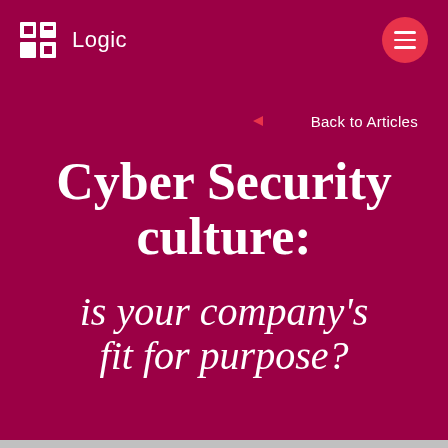[Figure (logo): DR Logic logo with two dark squares forming DR initials, followed by text 'Logic' in white]
[Figure (other): Red circular hamburger menu button with three white horizontal lines]
Back to Articles
Cyber Security culture: is your company's fit for purpose?